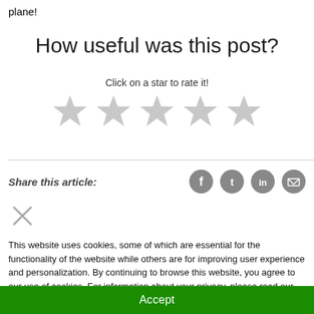plane!
How useful was this post?
Click on a star to rate it!
[Figure (other): Five gray star rating icons in a row]
Share this article:
[Figure (other): Social sharing icons: Facebook, Twitter, LinkedIn, Email]
[Figure (other): Close X button]
This website uses cookies, some of which are essential for the functionality of the website while others are for improving user experience and personalization. By continuing to browse this website, you agree to our use of cookies. For information about your privacy, please read our Privacy Policy and Terms of Use.
Accept